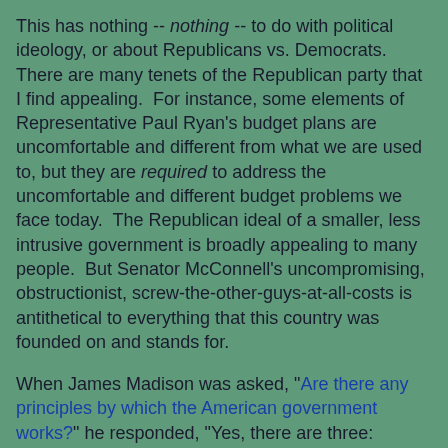This has nothing -- nothing -- to do with political ideology, or about Republicans vs. Democrats.  There are many tenets of the Republican party that I find appealing.  For instance, some elements of Representative Paul Ryan's budget plans are uncomfortable and different from what we are used to, but they are required to address the uncomfortable and different budget problems we face today.  The Republican ideal of a smaller, less intrusive government is broadly appealing to many people.  But Senator McConnell's uncompromising, obstructionist, screw-the-other-guys-at-all-costs is antithetical to everything that this country was founded on and stands for.
When James Madison was asked, "Are there any principles by which the American government works?" he responded, "Yes, there are three: compromise, compromise, compromise."
Look, dammit, you don't win your way back to popularity by being petulant and throwing a tantrum.  You win your way back to popularity by proposing a compellingly better path forward, by being consistent with data and by not being...